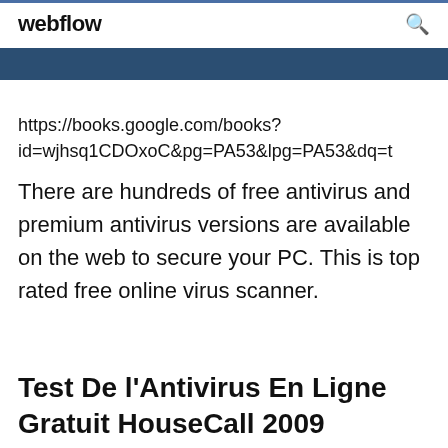webflow
https://books.google.com/books?id=wjhsq1CDOxoC&pg=PA53&lpg=PA53&dq=t
There are hundreds of free antivirus and premium antivirus versions are available on the web to secure your PC. This is top rated free online virus scanner.
Test De l'Antivirus En Ligne Gratuit HouseCall 2009